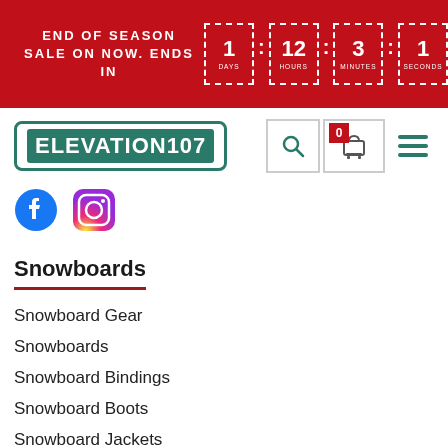END OF SEASON SALE ON NOW. ENDS IN — 1 DAYS : 12 HOURS : 3 MINUTES : 1 SECONDS
[Figure (logo): Elevation107 logo — teal/green bordered box with white text on teal background]
[Figure (infographic): Facebook and Instagram social media icons]
Snowboards
Snowboard Gear
Snowboards
Snowboard Bindings
Snowboard Boots
Snowboard Jackets
Snowboard Goggles